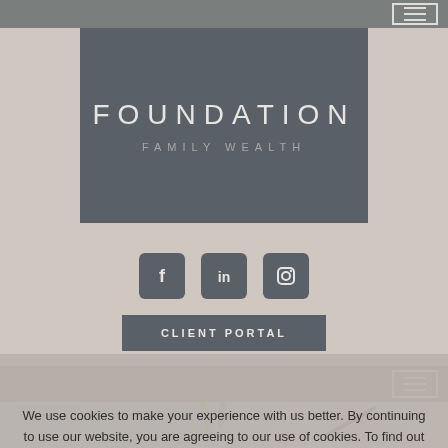[Figure (screenshot): Top navigation bar with hamburger menu button on right side, gray background]
[Figure (logo): Foundation Family Wealth logo - white text on dark slate gray background rectangle]
[Figure (infographic): Social media icons row: Facebook (f), LinkedIn (in), Instagram (camera) - dark square icons]
CLIENT PORTAL
[Figure (screenshot): Second navigation bar with hamburger menu button on right side]
[Figure (photo): Person writing with pen, financial charts in background, green plant]
We use cookies to make your experience with us better. By continuing to use our website, you are agreeing to our use of cookies. To find out more see our privacy policy.
CLOSE